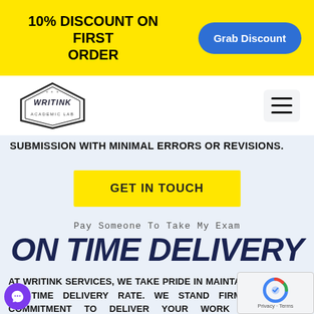10% DISCOUNT ON FIRST ORDER
Grab Discount
[Figure (logo): Writink logo - hexagonal badge with stylized handwriting text WRITINK]
SUBMISSION WITH MINIMAL ERRORS OR REVISIONS.
GET IN TOUCH
Pay Someone To Take My Exam
ON TIME DELIVERY
AT WRITINK SERVICES, WE TAKE PRIDE IN MAINTAINING 100% ON TIME DELIVERY RATE. WE STAND FIRM BY OUR COMMITMENT TO DELIVER YOUR WORK ON TIME. THROUGHOUT THE PROCESS WE WILL BE IN TOUCH AND